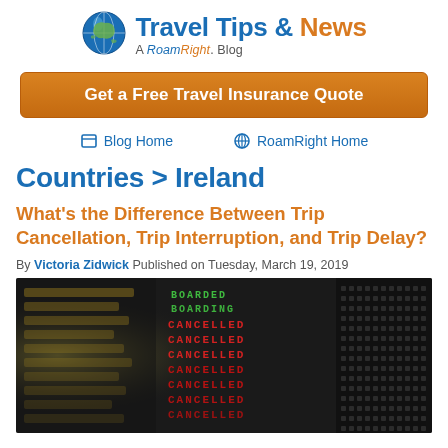Travel Tips & News — A RoamRight Blog
Get a Free Travel Insurance Quote
Blog Home   RoamRight Home
Countries > Ireland
What's the Difference Between Trip Cancellation, Trip Interruption, and Trip Delay?
By Victoria Zidwick Published on Tuesday, March 19, 2019
[Figure (photo): Airport departure board showing multiple CANCELLED flight status messages in red LED text against a dark background, with yellow and green text also visible]